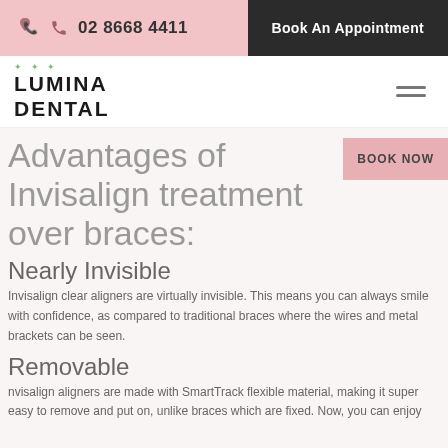02 8668 4411 | Book An Appointment
[Figure (logo): Lumina Dental logo with green leaf icon]
Advantages of Invisalign treatment over braces:
Nearly Invisible
Invisalign clear aligners are virtually invisible. This means you can always smile with confidence, as compared to traditional braces where the wires and metal brackets can be seen.
Removable
Invisalign aligners are made with SmartTrack flexible material, making it super easy to remove and put on, unlike braces which are fixed. Now, you can enjoy